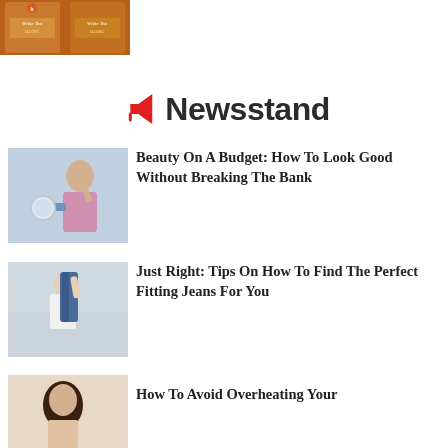[Figure (photo): Two tea product boxes/packages with 'White Tea' branding, shown partially at top of page]
Newsstand
[Figure (photo): Young woman sitting on floor applying makeup, with a round mirror beside her - article thumbnail]
Beauty On A Budget: How To Look Good Without Breaking The Bank
[Figure (photo): Woman in white shirt holding up blue jeans in a clothing store - article thumbnail]
Just Right: Tips On How To Find The Perfect Fitting Jeans For You
[Figure (photo): Person shown from behind, partial view - article thumbnail for overheating article]
How To Avoid Overheating Your